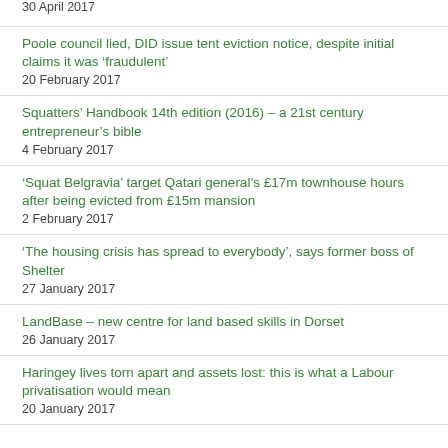30 April 2017
Poole council lied, DID issue tent eviction notice, despite initial claims it was ‘fraudulent’
20 February 2017
Squatters’ Handbook 14th edition (2016) – a 21st century entrepreneur’s bible
4 February 2017
‘Squat Belgravia’ target Qatari general’s £17m townhouse hours after being evicted from £15m mansion
2 February 2017
‘The housing crisis has spread to everybody’, says former boss of Shelter
27 January 2017
LandBase – new centre for land based skills in Dorset
26 January 2017
Haringey lives torn apart and assets lost: this is what a Labour privatisation would mean
20 January 2017